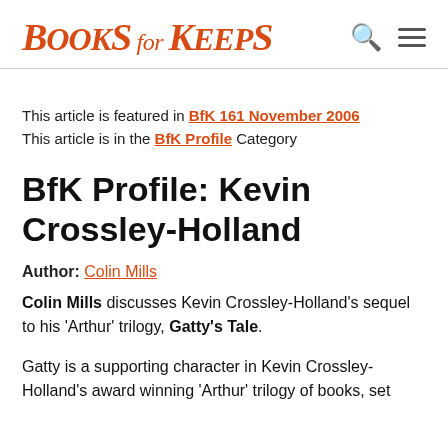Books for Keeps
This article is featured in BfK 161 November 2006
This article is in the BfK Profile Category
BfK Profile: Kevin Crossley-Holland
Author: Colin Mills
Colin Mills discusses Kevin Crossley-Holland's sequel to his 'Arthur' trilogy, Gatty's Tale.
Gatty is a supporting character in Kevin Crossley-Holland's award winning 'Arthur' trilogy of books, set